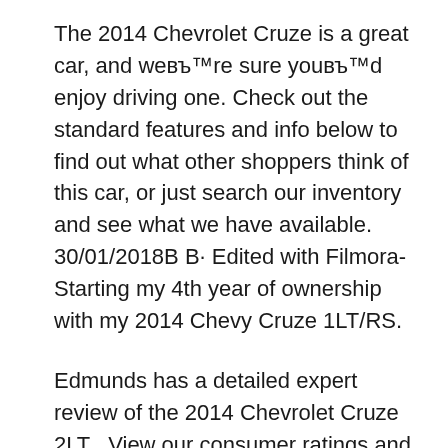The 2014 Chevrolet Cruze is a great car, and we're sure you'd enjoy driving one. Check out the standard features and info below to find out what other shoppers think of this car, or just search our inventory and see what we have available. 30/01/2018В В· Edited with Filmora- Starting my 4th year of ownership with my 2014 Chevy Cruze 1LT/RS.
Edmunds has a detailed expert review of the 2014 Chevrolet Cruze 2LT . View our consumer ratings and reviews of the 2014 Cruze, and see what other people are saying about the vehicle in our 2014 Chevrolet Cruze Diesel review notes. Graham Kozak Share Tweet Pin It Email More. Print. ASSOCIATE EDITOR GRAHAM KOZAK: We haven't had many bad things to say about the